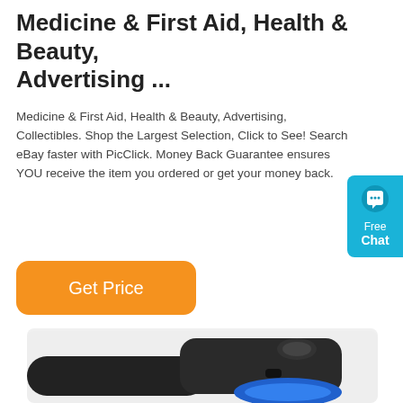Medicine & First Aid, Health & Beauty, Advertising ...
Medicine & First Aid, Health & Beauty, Advertising, Collectibles. Shop the Largest Selection, Click to See! Search eBay faster with PicClick. Money Back Guarantee ensures YOU receive the item you ordered or get your money back.
[Figure (other): Orange 'Get Price' button]
[Figure (other): Blue 'Free Chat' chat widget button on right edge]
[Figure (photo): Product photo of a black and blue handheld device (appears to be a retractable leash or similar gadget) on a white/light grey background]